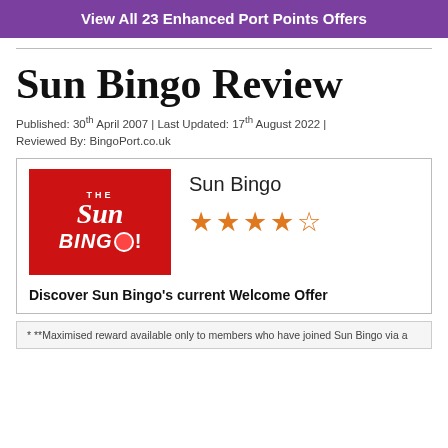View All 23 Enhanced Port Points Offers
Sun Bingo Review
Published: 30th April 2007 | Last Updated: 17th August 2022 | Reviewed By: BingoPort.co.uk
[Figure (logo): Sun Bingo logo on red background with The Sun Bingo! text]
Sun Bingo
4 out of 5 stars rating
Discover Sun Bingo's current Welcome Offer
***Maximised reward available only to members who have joined Sun Bingo via a